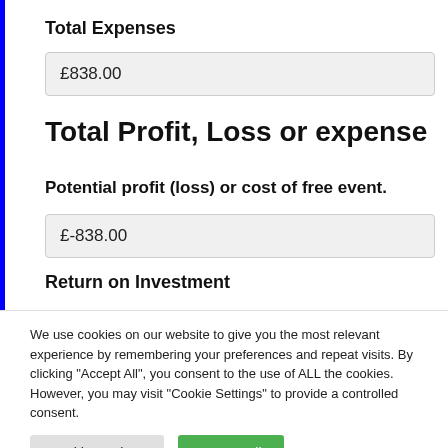Total Expenses
£838.00
Total Profit, Loss or expense
Potential profit (loss) or cost of free event.
£-838.00
Return on Investment
We use cookies on our website to give you the most relevant experience by remembering your preferences and repeat visits. By clicking "Accept All", you consent to the use of ALL the cookies. However, you may visit "Cookie Settings" to provide a controlled consent.